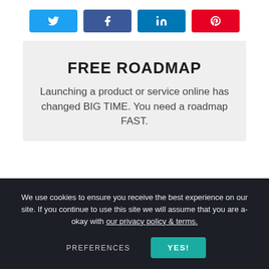[Figure (other): Four social sharing buttons: Twitter (blue), Facebook (dark blue), LinkedIn (dark blue), Pinterest (red), each with white icon]
FREE ROADMAP
Launching a product or service online has changed BIG TIME. You need a roadmap FAST.
We use cookies to ensure you receive the best experience on our site. If you continue to use this site we will assume that you are a-okay with our privacy policy & terms.